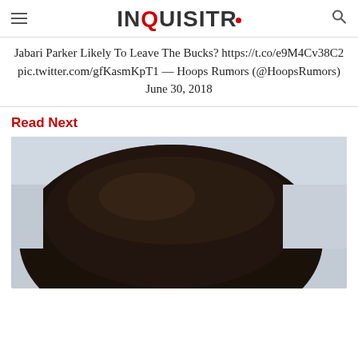INQUISITR
Jabari Parker Likely To Leave The Bucks? https://t.co/e9M4Cv38C2 pic.twitter.com/gfKasmKpT1 — Hoops Rumors (@HoopsRumors) June 30, 2018
Read Next
[Figure (photo): Photo of a person with dark hair, cropped to show top of head]